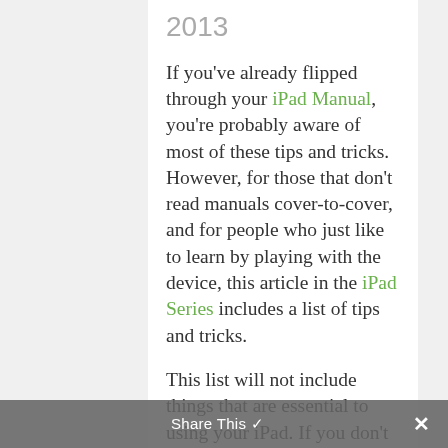2013
If you've already flipped through your iPad Manual, you're probably aware of most of these tips and tricks. However, for those that don't read manuals cover-to-cover, and for people who just like to learn by playing with the device, this article in the iPad Series includes a list of tips and tricks.
This list will not include things that are essential to using your iPad. If you don't know how to connect your iPad to iTunes, or how to turn Share This ✓, you
Share This ✓  ✕